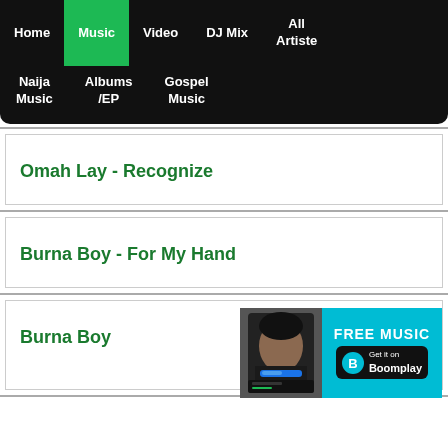Home | Music | Video | DJ Mix | All Artiste
Naija Music | Albums /EP | Gospel Music
Omah Lay - Recognize
Burna Boy - For My Hand
Burna Boy
[Figure (screenshot): Boomplay advertisement banner with FREE MUSIC text, Boomplay logo, Get it on Boomplay button, and a phone thumbnail showing Burna Boy profile]